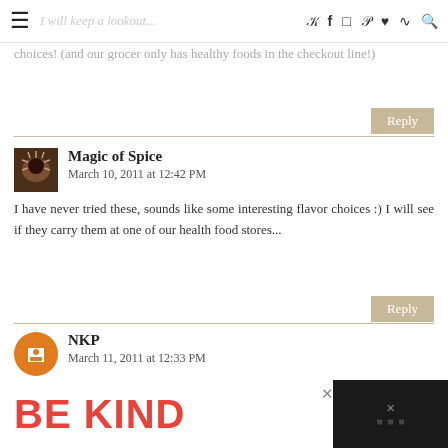I will keep a lookout... [hamburger menu, social icons: twitter, facebook, instagram, pinterest, heart, rss, search]
choices! (and our grocer only has healthy foods in the checkout line!)
Reply
Magic of Spice
March 10, 2011 at 12:42 PM
I have never tried these, sounds like some interesting flavor choices :) I will see if they carry them at one of our health food stores...
Reply
NKP
March 11, 2011 at 12:33 PM
[Figure (infographic): BE KIND advertisement banner at bottom of page with decorative script text]